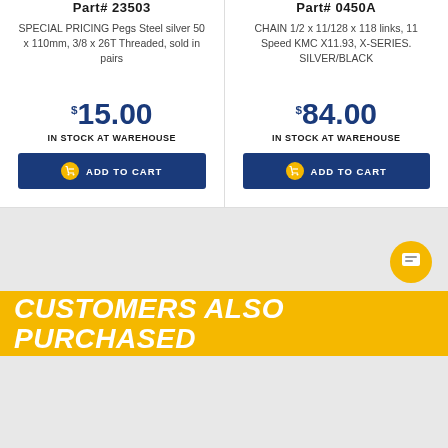Part# 23503
SPECIAL PRICING Pegs Steel silver 50 x 110mm, 3/8 x 26T Threaded, sold in pairs
$15.00
IN STOCK AT WAREHOUSE
ADD TO CART
Part# 0450A
CHAIN 1/2 x 11/128 x 118 links, 11 Speed KMC X11.93, X-SERIES. SILVER/BLACK
$84.00
IN STOCK AT WAREHOUSE
ADD TO CART
CUSTOMERS ALSO PURCHASED